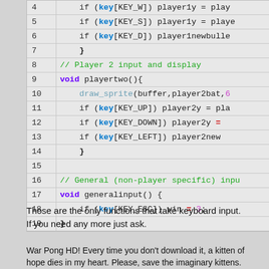[Figure (screenshot): Code snippet showing lines 4-19 of a C/C++ game input handling code with syntax highlighting. Lines include player input checks using key arrays, void functions playertwo() and generalinput().]
Those are the only functions that take keyboard input.
If you need any more just ask.
War Pong HD! Every time you don't download it, a kitten of hope dies in my heart. Please, save the imaginary kittens.